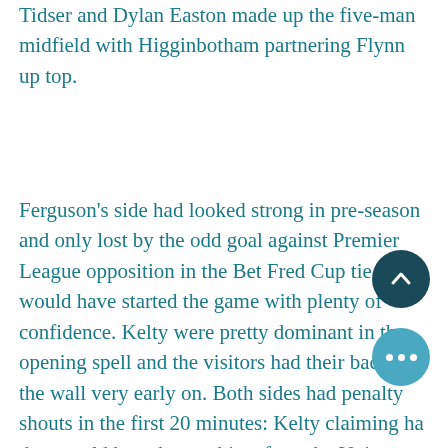Tidser and Dylan Easton made up the five-man midfield with Higginbotham partnering Flynn up top.
Ferguson's side had looked strong in pre-season and only lost by the odd goal against Premier League opposition in the Bet Fred Cup tie, so would have started the game with plenty of confidence. Kelty were pretty dominant in the opening spell and the visitors had their backs to the wall very early on. Both sides had penalty shouts in the first 20 minutes: Kelty claiming had that would have been a bit soft, while the Uni players shouts for a trip on